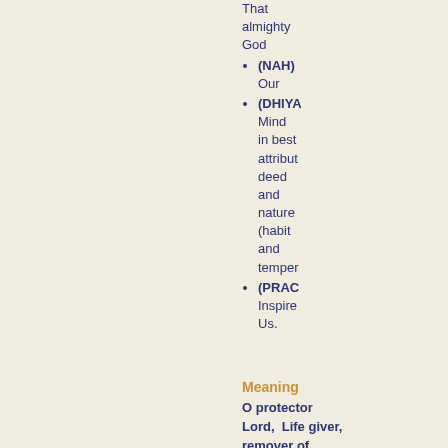That almighty God
(NAH) Our
(DHIYA Mind in best attributed deed and nature (habit and temper
(PRAC Inspire Us.
Meaning
O protector Lord, Life giver, remover of pain and sorrows, Bestower of